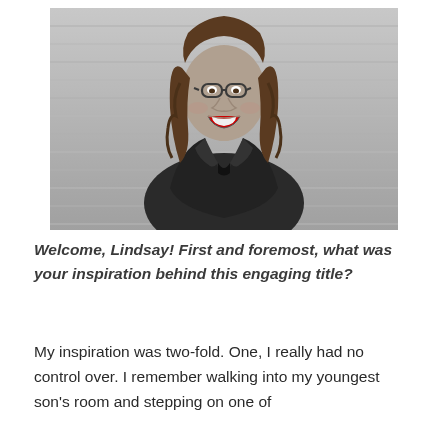[Figure (photo): Black and white portrait photo of a woman with long wavy hair and round glasses, laughing and wearing a leather jacket, standing against a siding wall background.]
Welcome, Lindsay! First and foremost, what was your inspiration behind this engaging title?
My inspiration was two-fold. One, I really had no control over. I remember walking into my youngest son's room and stepping on one of